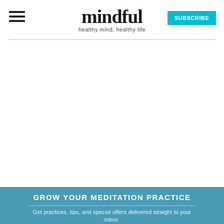mindful — healthy mind, healthy life — SUBSCRIBE
GROW YOUR MEDITATION PRACTICE
Get practices, tips, and special offers delivered straight to your inbox.